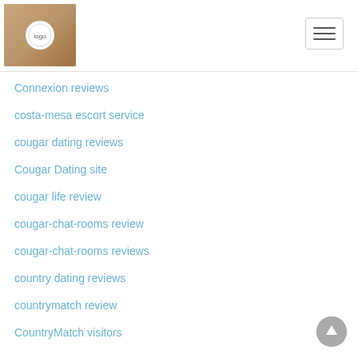Website header with logo and hamburger menu
Connexion reviews
costa-mesa escort service
cougar dating reviews
Cougar Dating site
cougar life review
cougar-chat-rooms review
cougar-chat-rooms reviews
country dating reviews
countrymatch review
CountryMatch visitors